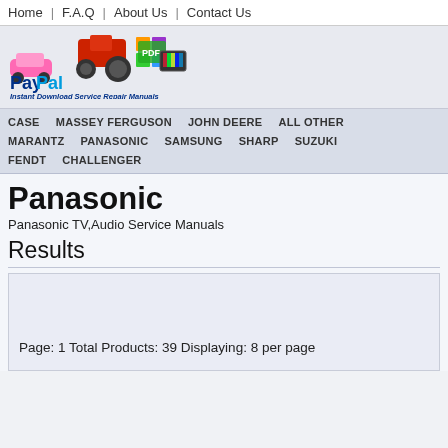Home | F.A.Q | About Us | Contact Us
[Figure (logo): PayPal Instant Download Service Repair Manuals logo with colorful vehicles and PDF icon]
CASE   MASSEY FERGUSON   JOHN DEERE   ALL OTHER   MARANTZ   PANASONIC   SAMSUNG   SHARP   SUZUKI   FENDT   CHALLENGER
Panasonic
Panasonic TV,Audio Service Manuals
Results
Page: 1  Total Products: 39  Displaying: 8 per page